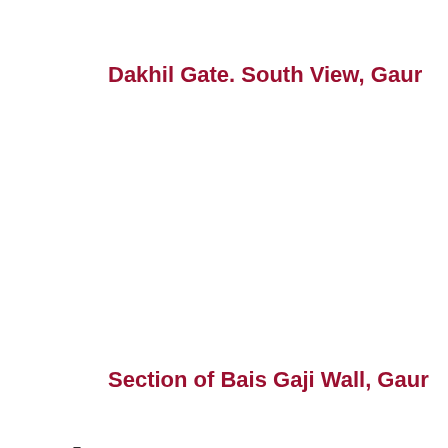Dakhil Gate. South View, Gaur
5.
Section of Bais Gaji Wall, Gaur